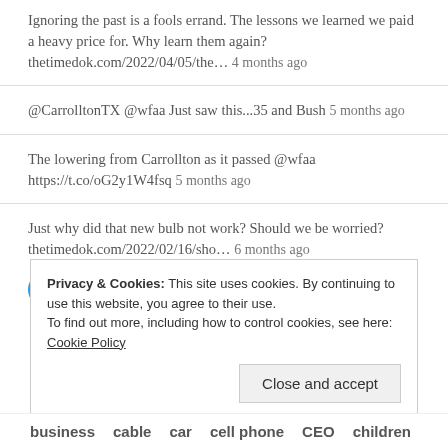Ignoring the past is a fools errand. The lessons we learned we paid a heavy price for. Why learn them again? thetimedok.com/2022/04/05/the… 4 months ago
@CarrolltonTX @wfaa Just saw this...35 and Bush 5 months ago
The lowering from Carrollton as it passed @wfaa https://t.co/oG2y1W4fsq 5 months ago
Just why did that new bulb not work? Should we be worried? thetimedok.com/2022/02/16/sho… 6 months ago
Follow @timedok
Privacy & Cookies: This site uses cookies. By continuing to use this website, you agree to their use. To find out more, including how to control cookies, see here: Cookie Policy
Close and accept
business  cable  car  cell phone  CEO  children